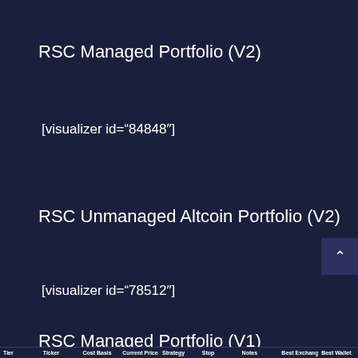RSC Managed Portfolio (V2)
[visualizer id="84848"]
RSC Unmanaged Altcoin Portfolio (V2)
[visualizer id="78512"]
RSC Managed Portfolio (V1)
| Tier | Ticker | Cost Basis | Current Price | Strategy | Stop | Notes | Best Exchange | Best Wallet |
| --- | --- | --- | --- | --- | --- | --- | --- | --- |